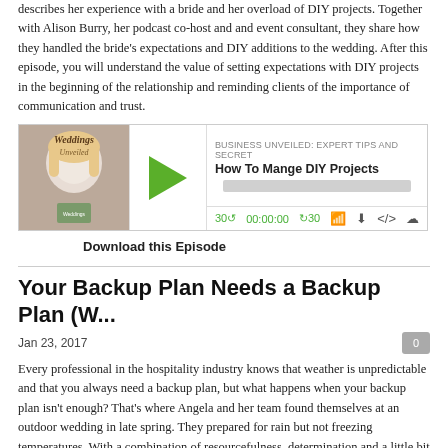describes her experience with a bride and her overload of DIY projects. Together with Alison Burry, her podcast co-host and and event consultant, they share how they handled the bride's expectations and DIY additions to the wedding. After this episode, you will understand the value of setting expectations with DIY projects in the beginning of the relationship and reminding clients of the importance of communication and trust.
[Figure (screenshot): Podcast player widget for 'Business Unveiled: Expert Tips and Secret' episode 'How To Mange DIY Projects' showing play button, timeline at 00:00:00, and media controls.]
Download this Episode
Your Backup Plan Needs a Backup Plan (W...
Jan 23, 2017
Every professional in the hospitality industry knows that weather is unpredictable and that you always need a backup plan, but what happens when your backup plan isn't enough? That's where Angela and her team found themselves at an outdoor wedding in late spring. They prepared for rain but not freezing temperatures. With a combination of resourcefulness, determination and a little bit of technology, the guests were warm and the